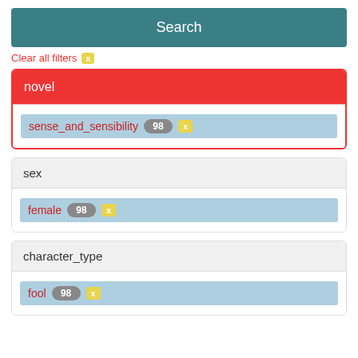Search
Clear all filters x
novel
sense_and_sensibility 98 x
sex
female 98 x
character_type
fool 98 x